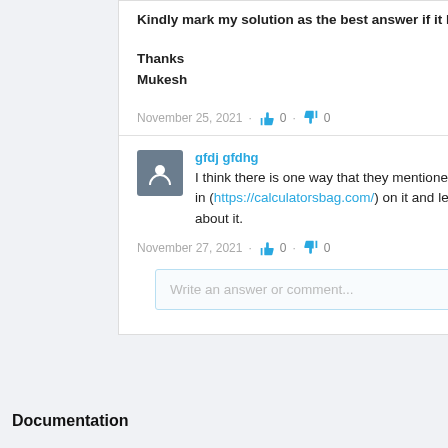Kindly mark my solution as the best answer if it help
Thanks
Mukesh
November 25, 2021 · 0 · 0
gfdj gfdhg
I think there is one way that they mentioned here in (https://calculatorsbag.com/) on it and learn about it.
November 27, 2021 · 0 · 0
Write an answer or comment...
Documentation